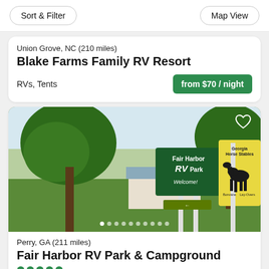Sort & Filter
Map View
Union Grove, NC (210 miles)
Blake Farms Family RV Resort
RVs, Tents
from $70 / night
[Figure (photo): Outdoor photo of Fair Harbor RV Park entrance with green sign reading 'Fair Harbor RV Park Welcome!' and adjacent yellow sign for 'Georgia Horse Stables' with horse illustration, surrounded by trees and grass]
Perry, GA (211 miles)
Fair Harbor RV Park & Campground